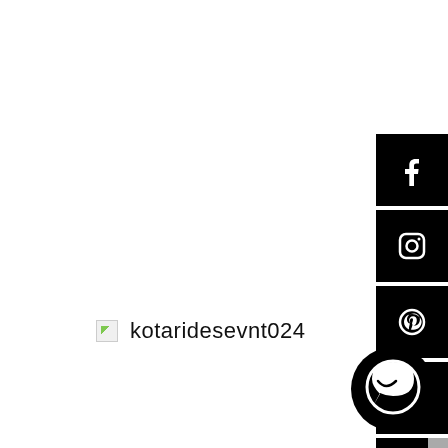[Figure (infographic): Social media icon buttons stacked vertically on the right side: Facebook, Instagram, Pinterest, Twitter, TikTok (partially visible) — all black square backgrounds with white icons]
[Figure (other): Broken image placeholder icon on the left, followed by the text 'kotaridesevnt024']
[Figure (other): Large circular chat/messenger icon in black at the bottom right]